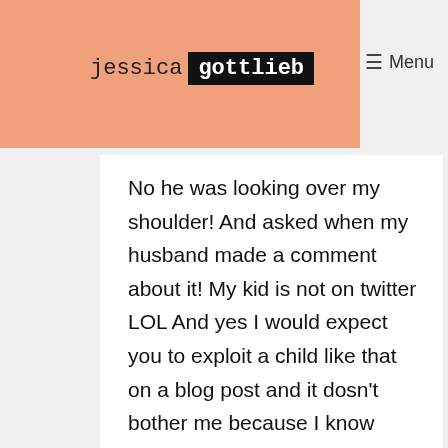jessica gottlieb
No he was looking over my shoulder! And asked when my husband made a comment about it! My kid is not on twitter LOL And yes I would expect you to exploit a child like that on a blog post and it dosn't bother me because I know thats who you are. If that is the only thing you pulled from my comment than I am sorry. I think your a smart woman and could do